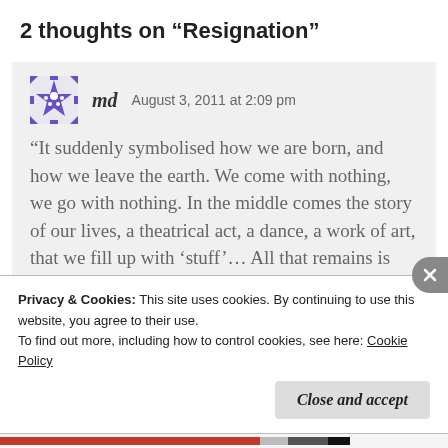2 thoughts on “Resignation”
md   August 3, 2011 at 2:09 pm
“It suddenly symbolised how we are born, and how we leave the earth. We come with nothing, we go with nothing. In the middle comes the story of our lives, a theatrical act, a dance, a work of art, that we fill up with ‘stuff’… All that remains is the space inside our heads — our memories, thoughts, intentions.”
Privacy & Cookies: This site uses cookies. By continuing to use this website, you agree to their use.
To find out more, including how to control cookies, see here: Cookie Policy
Close and accept